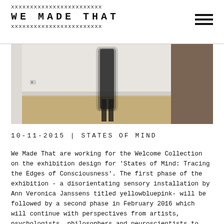WE MADE THAT
[Figure (photo): Interior room photo showing a blurred figure walking across a light wood floor in a white room]
10-11-2015 | STATES OF MIND
We Made That are working for the Welcome Collection on the exhibition design for 'States of Mind: Tracing the Edges of Consciousness'. The first phase of the exhibition - a disorientating sensory installation by Ann Veronica Janssens titled yellowbluepink- will be followed by a second phase in February 2016 which will continue with perspectives from artists, psychologists, philosophers and neuroscientists to interrogate our understanding of the conscious experience.